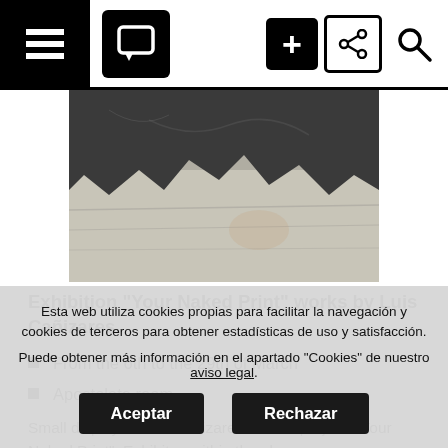Navigation bar with menu, comment, plus, share, and search icons
[Figure (photo): Close-up photo of a stone or marble surface showing a dark rocky top portion and a lighter textured lower portion, with a jagged boundary between them]
Exhibition "Your Naked Print" works by Luis Cañizares
From the 6th to the 29th of March
Apostolate room
Small display of Luis Cañizares' artistic projetc: "Your Naked Print". Exhibiton within the plan
Esta web utiliza cookies propias para facilitar la navegación y cookies de terceros para obtener estadísticas de uso y satisfacción.

Puede obtener más información en el apartado "Cookies" de nuestro aviso legal.
Aceptar | Rechazar